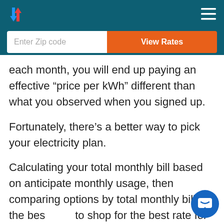each month, you will end up paying an effective “price per kWh” different than what you observed when you signed up.
Fortunately, there’s a better way to pick your electricity plan.
Calculating your total monthly bill based on anticipate monthly usage, then comparing options by total monthly bill, is the best to shop for the best rate for your household.